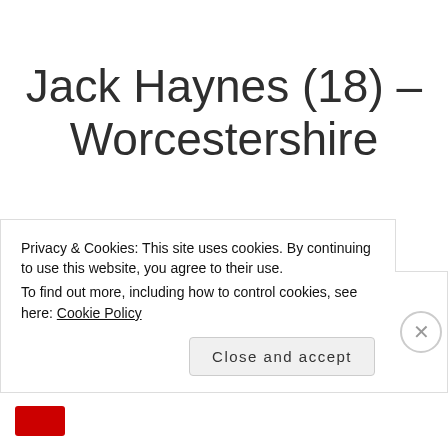Jack Haynes (18) – Worcestershire
A highly-rated young batsman who Worcestershire have great hopes for to eventually replace another prize batting asset in Joe Clarke who joined
Privacy & Cookies: This site uses cookies. By continuing to use this website, you agree to their use. To find out more, including how to control cookies, see here: Cookie Policy
Close and accept